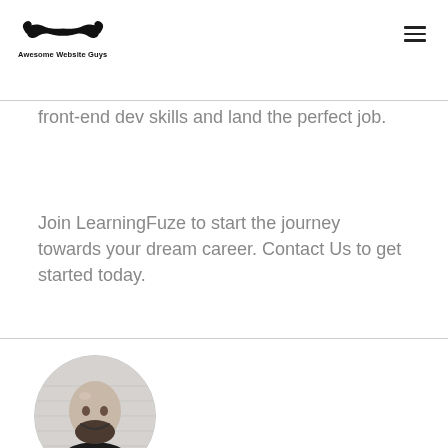Awesome Website Guys
front-end dev skills and land the perfect job.
Join LearningFuze to start the journey towards your dream career. Contact Us to get started today.
[Figure (photo): Circular black and white portrait photo of a smiling bald man with a beard wearing a suit jacket]